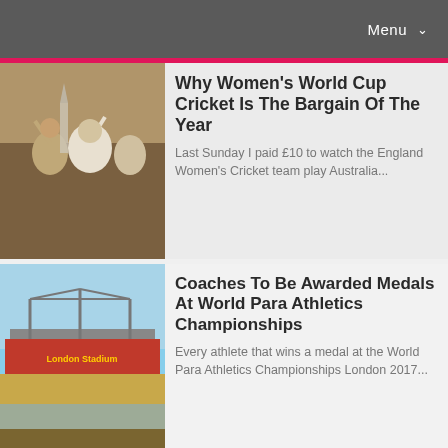Menu
Why Women's World Cup Cricket Is The Bargain Of The Year
Last Sunday I paid £10 to watch the England Women's Cricket team play Australia...
[Figure (photo): Crowd at cricket match with spectators raising arms]
Coaches To Be Awarded Medals At World Para Athletics Championships
Every athlete that wins a medal at the World Para Athletics Championships London 2017...
[Figure (photo): Stadium exterior with London 2017 branding banner]
Homemade Sports Nutrition – Electrolyte Drink
Sports nutrition products have become huge business over the
[Figure (photo): Sports nutrition bottles and ingredients on wooden surface]